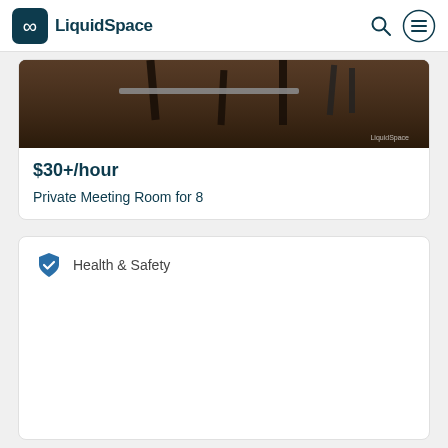LiquidSpace
[Figure (photo): Partial view of office chairs and table legs on a dark wood floor]
$30+/hour
Private Meeting Room for 8
Health & Safety